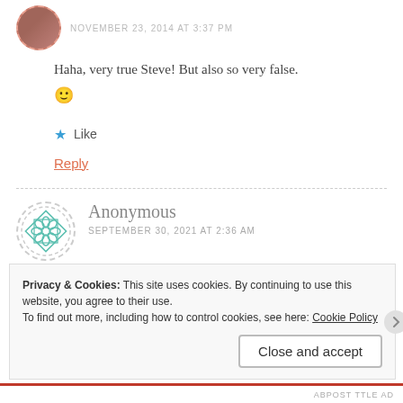NOVEMBER 23, 2014 AT 3:37 PM
Haha, very true Steve! But also so very false. 🙂
★ Like
Reply
Anonymous
SEPTEMBER 30, 2021 AT 2:36 AM
Privacy & Cookies: This site uses cookies. By continuing to use this website, you agree to their use.
To find out more, including how to control cookies, see here: Cookie Policy
Close and accept